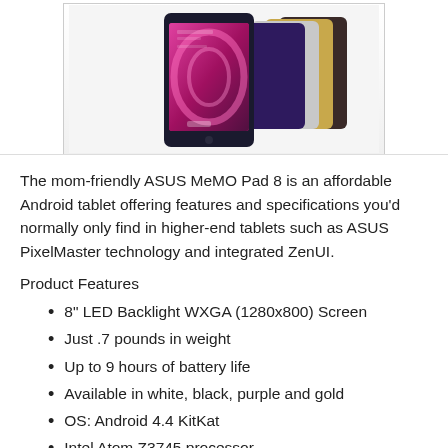[Figure (photo): ASUS MeMO Pad 8 tablet shown from the front displaying a colorful screen, with multiple color variants (purple, white, gold, black) arranged behind it.]
The mom-friendly ASUS MeMO Pad 8 is an affordable Android tablet offering features and specifications you'd normally only find in higher-end tablets such as ASUS PixelMaster technology and integrated ZenUI.
Product Features
8" LED Backlight WXGA (1280x800) Screen
Just .7 pounds in weight
Up to 9 hours of battery life
Available in white, black, purple and gold
OS: Android 4.4 KitKat
Intel Atom Z3745 processor
Starting at $199